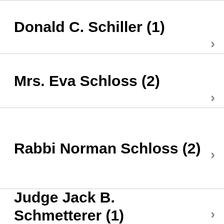Donald C. Schiller (1)
Mrs. Eva Schloss (2)
Rabbi Norman Schloss (2)
Judge Jack B. Schmetterer (1)